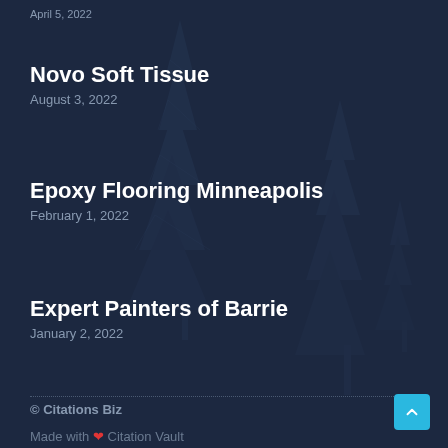April 5, 2022
Novo Soft Tissue
August 3, 2022
Epoxy Flooring Minneapolis
February 1, 2022
Expert Painters of Barrie
January 2, 2022
© Citations Biz
Made with ❤ Citation Vault